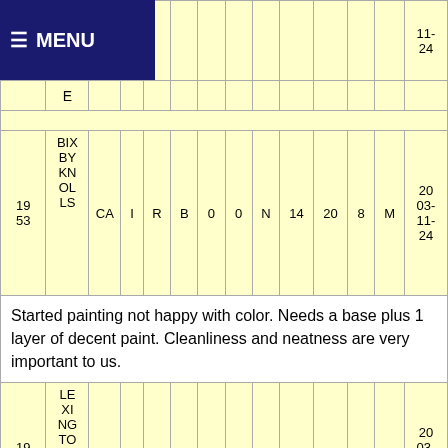MENU
| ID | Street | City |  |  |  |  |  |  |  |  |  |  | Date |
| --- | --- | --- | --- | --- | --- | --- | --- | --- | --- | --- | --- | --- | --- |
| 19 53 | BIX BY KN OL LS | CA | I | R | B | 0 | 0 | N | 14 | 20 | 8 | M | 2003-11-24 |
| note | Started painting not happy with color. Needs a base plus 1 layer of decent paint. Cleanliness and neatness are very important to us. |  |  |  |  |  |  |  |  |  |  |  |  |
| 19 52 | LE XI NG TO N | KY | E | R | B | 1 | 6 | N | 60 | 30 | 25 | M | 2003-11-24 |